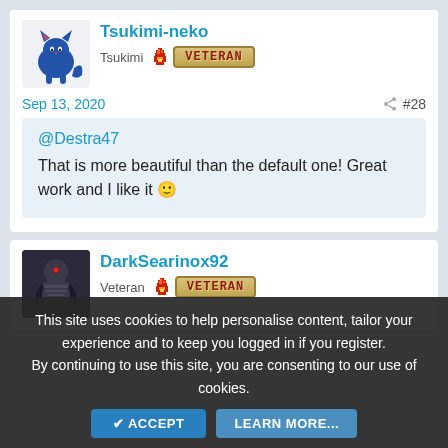Tsukimi-neko
Tsukimi VETERAN
Sep 13, 2020 #28
@Destra47
That is more beautiful than the default one! Great work and I like it 🙂
DarkSearinox92
Veteran VETERAN
This site uses cookies to help personalise content, tailor your experience and to keep you logged in if you register. By continuing to use this site, you are consenting to our use of cookies.
ACCEPT   LEARN MORE...